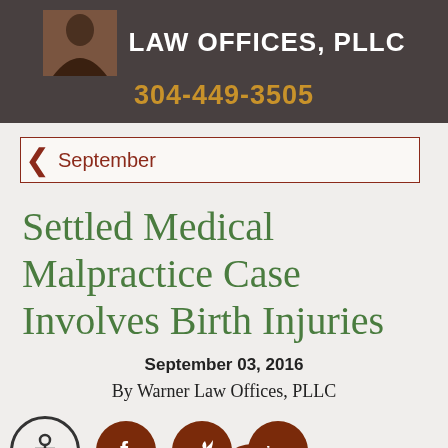LAW OFFICES, PLLC
304-449-3505
September
Settled Medical Malpractice Case Involves Birth Injuries
September 03, 2016
By Warner Law Offices, PLLC
[Figure (other): Social sharing and accessibility icons row: accessibility icon (circle with person), Facebook icon, Twitter icon, LinkedIn icon, hamburger menu icon, and Text Us Now button]